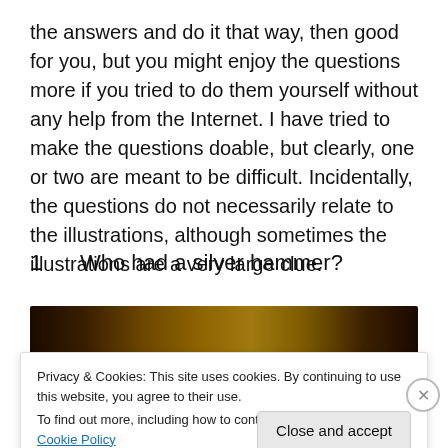the answers and do it that way, then good for you, but you might enjoy the questions more if you tried to do them yourself without any help from the Internet. I have tried to make the questions doable, but clearly, one or two are meant to be difficult. Incidentally, the questions do not necessarily relate to the illustrations, although sometimes the illustrations are a very large clue.
1   Who had a silver hammer?
[Figure (photo): A dark image with brown/golden gradient tones, partially obscured by a cookie consent overlay. Bottom strip shows red and black bars.]
Privacy & Cookies: This site uses cookies. By continuing to use this website, you agree to their use.
To find out more, including how to control cookies, see here: Cookie Policy